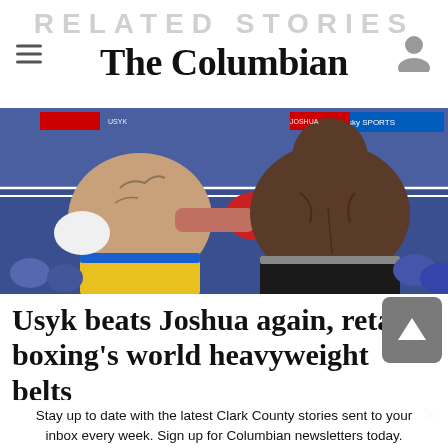The Columbian
[Figure (photo): Two boxers in action during a heavyweight championship fight. One boxer in yellow/blue shorts with white gloves throwing a punch, the other shirtless, viewed from behind. Arena crowd visible in the background.]
Usyk beats Joshua again, retains boxing's world heavyweight belts
Stay up to date with the latest Clark County stories sent to your inbox every week. Sign up for Columbian newsletters today.
Sign up >